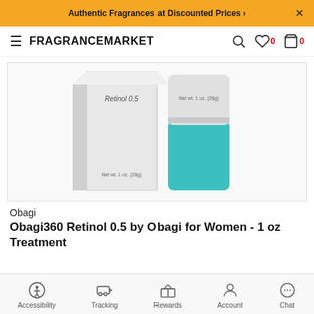Authentic Fragrances at Discounted Prices ›
FRAGRANCEMARKET
[Figure (photo): Obagi360 Retinol 0.5 product photo showing white box packaging with 'Retinol 0.5' text and 'Net wt. 1 oz. (28g)' label alongside a white and teal cylindrical jar container]
Obagi
Obagi360 Retinol 0.5 by Obagi for Women - 1 oz Treatment
Accessibility   Tracking   Rewards   Account   Chat